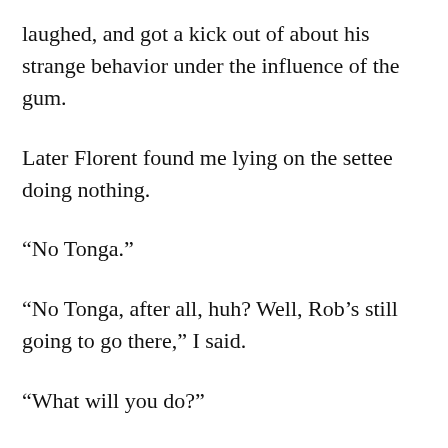laughed, and got a kick out of about his strange behavior under the influence of the gum.
Later Florent found me lying on the settee doing nothing.
“No Tonga.”
“No Tonga, after all, huh? Well, Rob’s still going to go there,” I said.
“What will you do?”